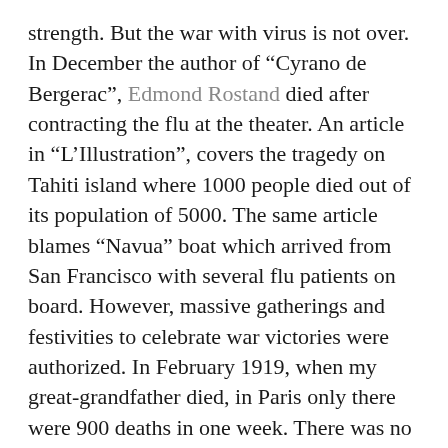strength. But the war with virus is not over. In December the author of “Cyrano de Bergerac”, Edmond Rostand died after contracting the flu at the theater. An article in “L’Illustration”, covers the tragedy on Tahiti island where 1000 people died out of its population of 5000. The same article blames “Navua” boat which arrived from San Francisco with several flu patients on board. However, massive gatherings and festivities to celebrate war victories were authorized. In February 1919, when my great-grandfather died, in Paris only there were 900 deaths in one week. There was no enforced isolation, people gathered in churches, schools, theaters, and public transport, and advertisement in the press proposed flu remedies that also cure lumbago.
One century later, I am semi-confined with my wife and two children at our home in Geneva since mid-March. I have been working as an international civil